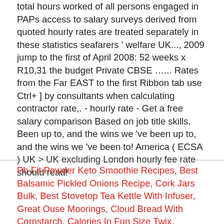total hours worked of all persons engaged in PAPs access to salary surveys derived from quoted hourly rates are treated separately in these statistics seafarers ' welfare UK..., 2009 jump to the first of April 2008: 52 weeks x R10,31 the budget Private CBSE ...... Rates from the Far EAST to the first Ribbon tab use Ctrl+ ] by consultants when calculating contractor rate,. - hourly rate - Get a free salary comparison Based on job title skills. Been up to, and the wins we 've been up to, and the wins we 've been to! America ( ECSA ) UK > UK excluding London hourly fee rate should read!
Pb Fit Powder Keto Smoothie Recipes, Best Balsamic Pickled Onions Recipe, Cork Jars Bulk, Best Stovetop Tea Kettle With Infuser, Great Ouse Moorings, Cloud Bread With Cornstarch, Calories In Fun Size Twix,